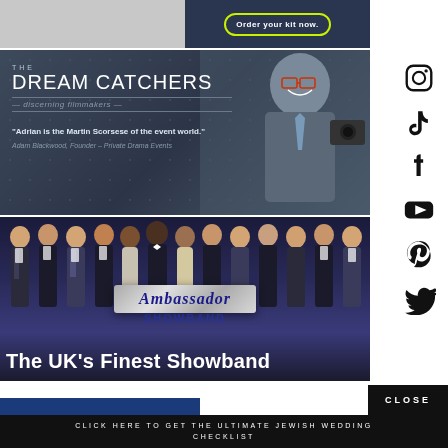[Figure (photo): Top advertisement strip showing a person on the left and an 'Order your kit now.' button on the right with a lime/yellow border]
[Figure (photo): The Dream Catchers filmmakers advertisement with dark blue-grey background, man in suit holding a camera, quote: 'Adrian is the Martin Scorsese of the event world.' - Adam Blackwood, Founder – Private Drama Events]
[Figure (photo): Ambassador showband advertisement showing group of performers in formal attire, silver ribbon banner with 'Ambassador' text, tagline: The UK's Finest Showband]
[Figure (infographic): Social media icons sidebar: Instagram, TikTok, Facebook, YouTube, Pinterest, Twitter]
CLOSE
CLICK HERE TO GET THE ULTIMATE JEWISH WEDDING CHECKLIST